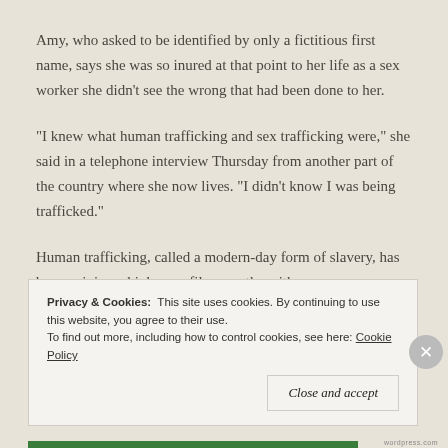Amy, who asked to be identified by only a fictitious first name, says she was so inured at that point to her life as a sex worker she didn't see the wrong that had been done to her.
"I knew what human trafficking and sex trafficking were," she said in a telephone interview Thursday from another part of the country where she now lives. "I didn't know I was being trafficked."
Human trafficking, called a modern-day form of slavery, has been gaining a higher profile recently, with more cases
Privacy & Cookies: This site uses cookies. By continuing to use this website, you agree to their use.
To find out more, including how to control cookies, see here: Cookie Policy
Close and accept